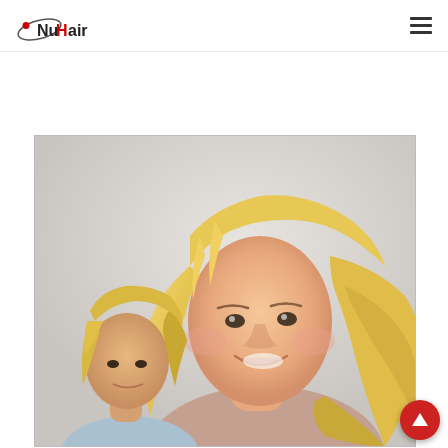NuHair logo and navigation menu
[Figure (logo): NuHair logo with orbital ring graphic and red dot, black text reading NuHair]
[Figure (photo): Photograph of a smiling blonde woman with long wavy hair looking upward, with a smaller image of another blonde woman in the lower left foreground, against a light grey/white background]
[Figure (other): Red circular scroll-to-top button with white upward arrow, positioned in bottom right corner]